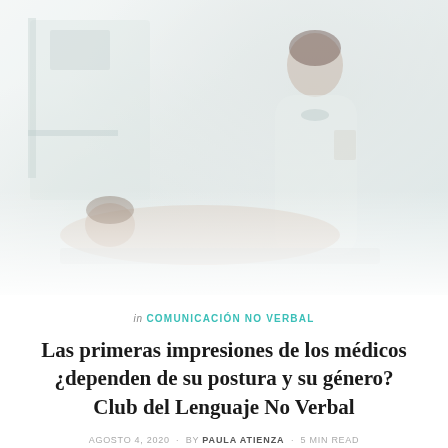[Figure (photo): A female doctor in white coat examining or consulting with a patient lying down, in a clinical setting. The image is washed out with a white/light overlay giving a faded, soft appearance.]
in COMUNICACIÓN NO VERBAL
Las primeras impresiones de los médicos ¿dependen de su postura y su género? Club del Lenguaje No Verbal
AGOSTO 4, 2020 · BY PAULA ATIENZA · 5 MIN READ